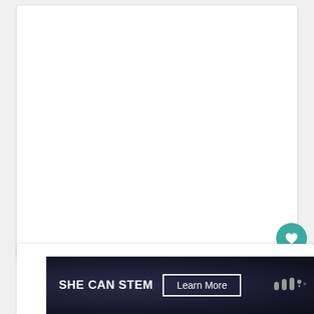[Figure (screenshot): White card area representing a web page content region, mostly blank/white background]
[Figure (infographic): Teal circular like/heart button UI element]
112
[Figure (infographic): Share button UI element (circular white button with share icon)]
[Figure (screenshot): SHE CAN STEM advertisement banner with dark background, white bold text reading SHE CAN STEM, a Learn More button, and a logo mark on the right]